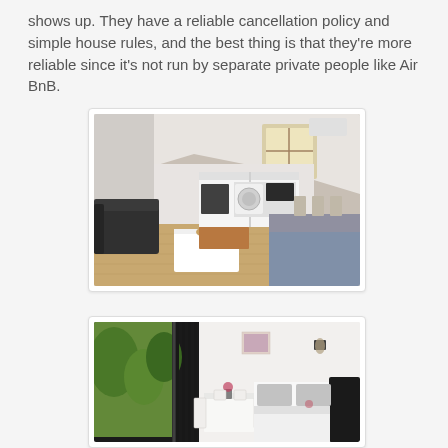shows up. They have a reliable cancellation policy and simple house rules, and the best thing is that they're more reliable since it's not run by separate private people like Air BnB.
[Figure (photo): Interior photo of a modern studio apartment with a sloped ceiling and skylight window, showing a sofa, white coffee table, kitchen area, and a bed with grey bedding, with wooden flooring.]
[Figure (photo): Interior photo of a modern hotel-style room with vertical black blinds over sliding glass doors opening to a garden, a small dining table with chairs, a bed with grey and white bedding, and wall art.]